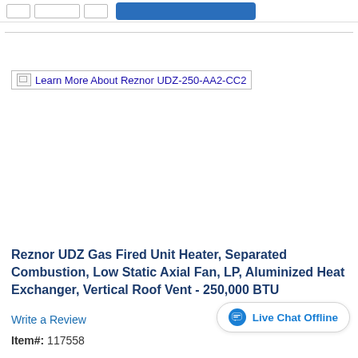[Figure (screenshot): Top navigation bar with input boxes and a blue button, partially visible at the top of the page]
Learn More About Reznor UDZ-250-AA2-CC2
Reznor UDZ Gas Fired Unit Heater, Separated Combustion, Low Static Axial Fan, LP, Aluminized Heat Exchanger, Vertical Roof Vent - 250,000 BTU
Write a Review
Live Chat Offline
Item#: 117558